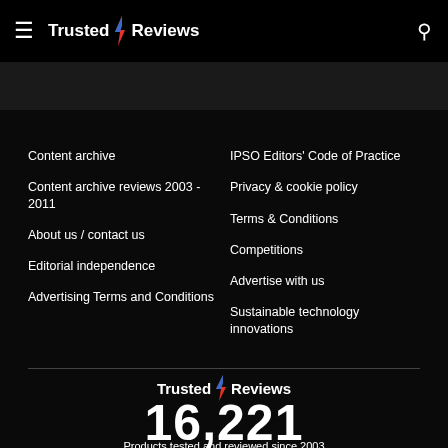Trusted Reviews
Content archive
Content archive reviews 2003 - 2011
About us / contact us
Editorial independence
Advertising Terms and Conditions
IPSO Editors' Code of Practice
Privacy & cookie policy
Terms & Conditions
Competitions
Advertise with us
Sustainable technology innovations
[Figure (logo): Trusted Reviews logo with lightning bolt]
16,221
Products tested and reviewed since 2003